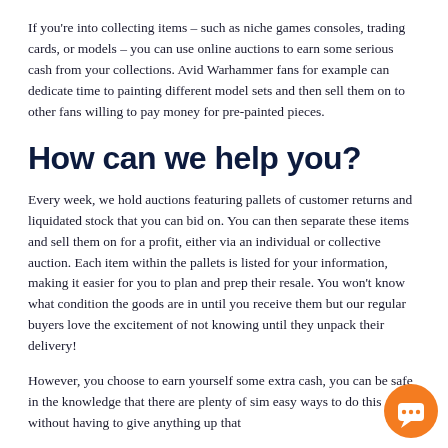If you're into collecting items – such as niche games consoles, trading cards, or models – you can use online auctions to earn some serious cash from your collections. Avid Warhammer fans for example can dedicate time to painting different model sets and then sell them on to other fans willing to pay money for pre-painted pieces.
How can we help you?
Every week, we hold auctions featuring pallets of customer returns and liquidated stock that you can bid on. You can then separate these items and sell them on for a profit, either via an individual or collective auction. Each item within the pallets is listed for your information, making it easier for you to plan and prep their resale. You won't know what condition the goods are in until you receive them but our regular buyers love the excitement of not knowing until they unpack their delivery!
However, you choose to earn yourself some extra cash, you can be safe in the knowledge that there are plenty of simple easy ways to do this without having to give anything up that